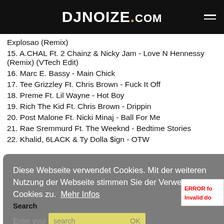DJNOIZE.COM
Explosao (Remix)
15. A.CHAL Ft. 2 Chainz & Nicky Jam - Love N Hennessy (Remix) (VTech Edit)
16. Marc E. Bassy - Main Chick
17. Tee Grizzley Ft. Chris Brown - Fuck It Off
18. Preme Ft. Lil Wayne - Hot Boy
19. Rich The Kid Ft. Chris Brown - Drippin
20. Post Malone Ft. Nicki Minaj - Ball For Me
21. Rae Sremmurd Ft. The Weeknd - Bedtime Stories
22. Khalid, 6LACK & Ty Dolla $ign - OTW
Diese Webseite verwendet Cookies. Mit der weiteren Nutzung der Webseite stimmen Sie der Verwendung von Cookies zu.  Mehr Infos
Search
Enter your search  OK
ERROR fo
Invalid do